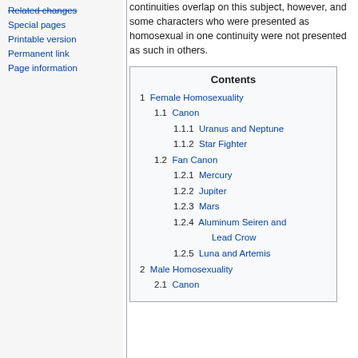Related changes
Special pages
Printable version
Permanent link
Page information
continuities overlap on this subject, however, and some characters who were presented as homosexual in one continuity were not presented as such in others.
| Contents |
| --- |
| 1  Female Homosexuality |
| 1.1  Canon |
| 1.1.1  Uranus and Neptune |
| 1.1.2  Star Fighter |
| 1.2  Fan Canon |
| 1.2.1  Mercury |
| 1.2.2  Jupiter |
| 1.2.3  Mars |
| 1.2.4  Aluminum Seiren and Lead Crow |
| 1.2.5  Luna and Artemis |
| 2  Male Homosexuality |
| 2.1  Canon |